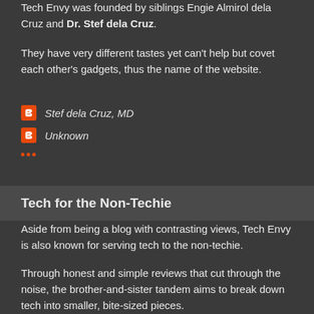Tech Envy was founded by siblings Engie Almirol dela Cruz and Dr. Stef dela Cruz.
They have very different tastes yet can't help but covet each other's gadgets, thus the name of the website.
Stef dela Cruz, MD
Unknown
Tech for the Non-Techie
Aside from being a blog with contrasting views, Tech Envy is also known for serving tech to the non-techie.
Through honest and simple reviews that cut through the noise, the brother-and-sister tandem aims to break down tech into smaller, bite-sized pieces.